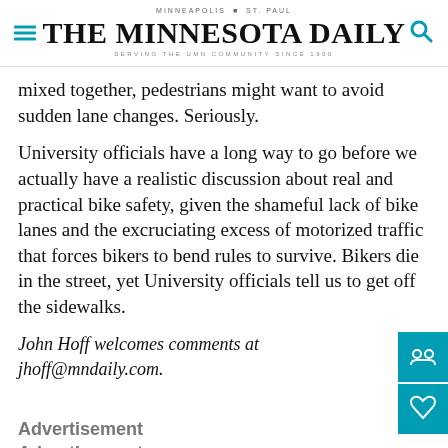MINNEAPOLIS | ST. PAUL — THE MINNESOTA DAILY — SERVING THE UMN COMMUNITY SINCE 1900
mixed together, pedestrians might want to avoid sudden lane changes. Seriously.
University officials have a long way to go before we actually have a realistic discussion about real and practical bike safety, given the shameful lack of bike lanes and the excruciating excess of motorized traffic that forces bikers to bend rules to survive. Bikers die in the street, yet University officials tell us to get off the sidewalks.
John Hoff welcomes comments at jhoff@mndaily.com.
Advertisement